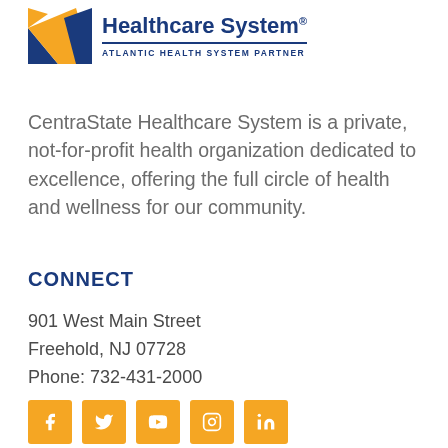[Figure (logo): CentraState Healthcare System logo with orange/blue geometric icon and text reading 'Healthcare System® ATLANTIC HEALTH SYSTEM PARTNER']
CentraState Healthcare System is a private, not-for-profit health organization dedicated to excellence, offering the full circle of health and wellness for our community.
CONNECT
901 West Main Street
Freehold, NJ 07728
Phone: 732-431-2000
[Figure (infographic): Row of five orange square social media icons: Facebook, Twitter, YouTube, Instagram, LinkedIn]